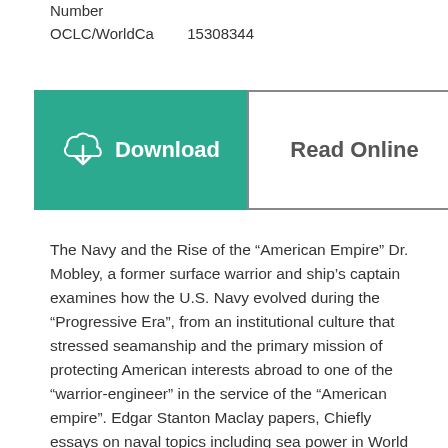Number
OCLC/WorldCa       15308344
[Figure (other): Download button (teal background with cloud download icon) and Read Online button (white background with border)]
The Navy and the Rise of the “American Empire” Dr. Mobley, a former surface warrior and ship’s captain examines how the U.S. Navy evolved during the “Progressive Era”, from an institutional culture that stressed seamanship and the primary mission of protecting American interests abroad to one of the “warrior-engineer” in the service of the “American empire”. Edgar Stanton Maclay papers, Chiefly essays on naval topics including sea power in World War I, women in the U.S. Navy, and early American naval history. Includes a reproduction of a print of the British